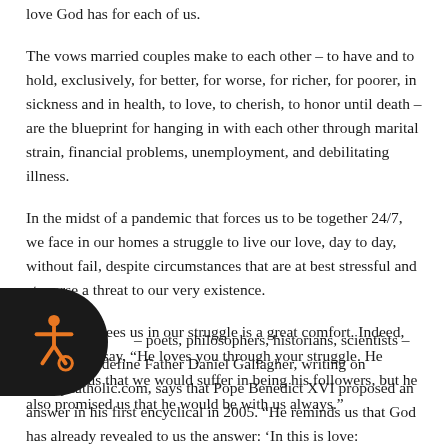love God has for each of us.
The vows married couples make to each other – to have and to hold, exclusively, for better, for worse, for richer, for poorer, in sickness and in health, to love, to cherish, to honor until death – are the blueprint for hanging in with each other through marital strain, financial problems, unemployment, and debilitating illness.
In the midst of a pandemic that forces us to be together 24/7, we face in our homes a struggle to live our love, day to day, without fail, despite circumstances that are at best stressful and at worse a threat to our very existence.
That Christ sees us in our struggle is a great comfort. Indeed, the Bishops say, “He loves you through your struggle. He promised us that we would suffer in being his followers, but he also promised us that he would be with us always.”
– poets, philosophers, historians, scientists – struggles to define Father Daniel Gallagher, writing on simplycatholic.com, says that Pope Benedict XVI proposed an answer in his first encyclical in 2005. “He reminds us that God has already revealed to us the answer: ‘In this is love: